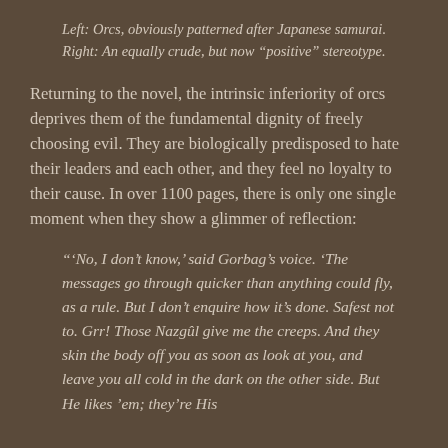Left: Orcs, obviously patterned after Japanese samurai. Right: An equally crude, but now “positive” stereotype.
Returning to the novel, the intrinsic inferiority of orcs deprives them of the fundamental dignity of freely choosing evil. They are biologically predisposed to hate their leaders and each other, and they feel no loyalty to their cause. In over 1100 pages, there is only one single moment when they show a glimmer of reflection:
“‘No, I don’t know,’ said Gorbag’s voice. ‘The messages go through quicker than anything could fly, as a rule. But I don’t enquire how it’s done. Safest not to. Grr! Those Nazgûl give me the creeps. And they skin the body off you as soon as look at you, and leave you all cold in the dark on the other side. But He likes ’em; they’re His